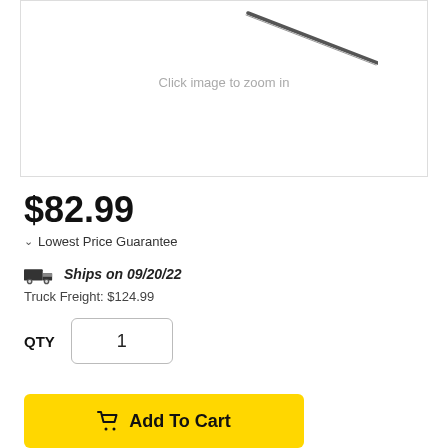[Figure (photo): Product image of a long thin rod/bar (appears to be a metal rod or similar hardware item), partially visible, with 'Click image to zoom in' text below]
$82.99
∨  Lowest Price Guarantee
Ships on 09/20/22
Truck Freight: $124.99
QTY  1
Add To Cart